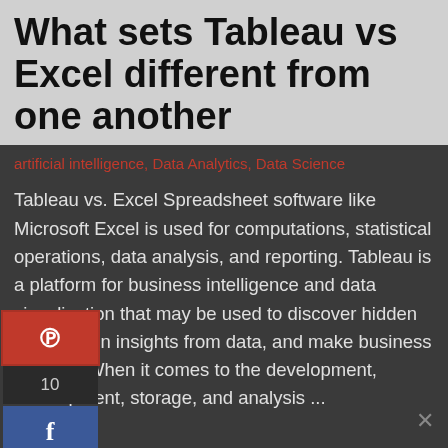What sets Tableau vs Excel different from one another
artificial intelligence, Data Analytics, Data Science
Tableau vs. Excel Spreadsheet software like Microsoft Excel is used for computations, statistical operations, data analysis, and reporting. Tableau is a platform for business intelligence and data visualisation that may be used to discover hidden trends, gain insights from data, and make business choices. When it comes to the development, development, storage, and analysis ...
[Figure (infographic): Social sharing sidebar showing Pinterest (10 shares), Facebook (6 shares), Twitter (3 shares), and LinkedIn (5 shares) buttons on the left side of the page]